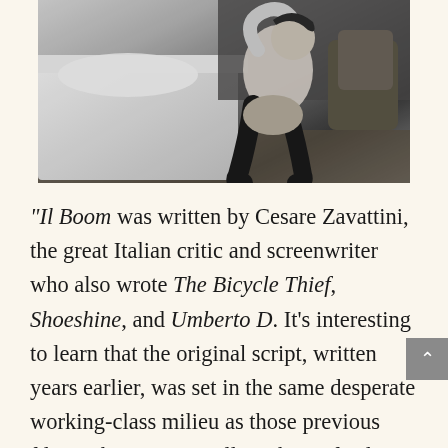[Figure (photo): Black and white photograph of a woman sitting on or near a bed, wearing dark stockings, in what appears to be a bedroom setting with a chair visible in the background.]
“Il Boom was written by Cesare Zavattini, the great Italian critic and screenwriter who also wrote The Bicycle Thief, Shoeshine, and Umberto D. It’s interesting to learn that the original script, written years earlier, was set in the same desperate working-class milieu as those previous films. The concept still works perfectly in a bourgeois setting, because De Sica and Zavattini nail how money and power infect